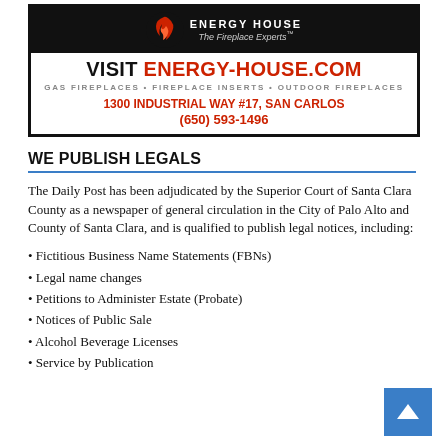[Figure (illustration): Energy House advertisement: black top bar with flame logo and tagline 'The Fireplace Experts', text 'VISIT ENERGY-HOUSE.COM', 'GAS FIREPLACES • FIREPLACE INSERTS • OUTDOOR FIREPLACES', '1300 INDUSTRIAL WAY #17, SAN CARLOS', '(650) 593-1496']
WE PUBLISH LEGALS
The Daily Post has been adjudicated by the Superior Court of Santa Clara County as a newspaper of general circulation in the City of Palo Alto and County of Santa Clara, and is qualified to publish legal notices, including:
Fictitious Business Name Statements (FBNs)
Legal name changes
Petitions to Administer Estate (Probate)
Notices of Public Sale
Alcohol Beverage Licenses
Service by Publication